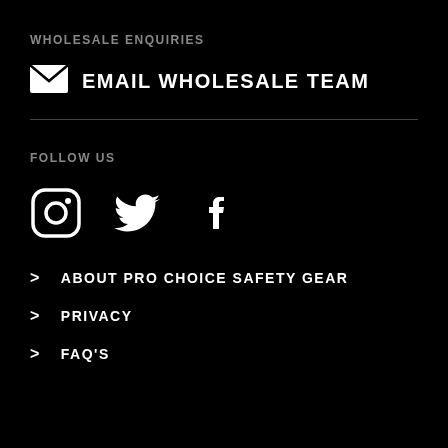WHOLESALE ENQUIRIES
EMAIL WHOLESALE TEAM
FOLLOW US
[Figure (infographic): Social media icons: Instagram, Twitter, Facebook]
ABOUT PRO CHOICE SAFETY GEAR
PRIVACY
FAQ'S